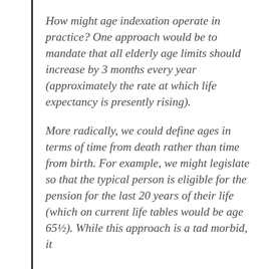How might age indexation operate in practice? One approach would be to mandate that all elderly age limits should increase by 3 months every year (approximately the rate at which life expectancy is presently rising).
More radically, we could define ages in terms of time from death rather than time from birth. For example, we might legislate so that the typical person is eligible for the pension for the last 20 years of their life (which on current life tables would be age 65½). While this approach is a tad morbid, it